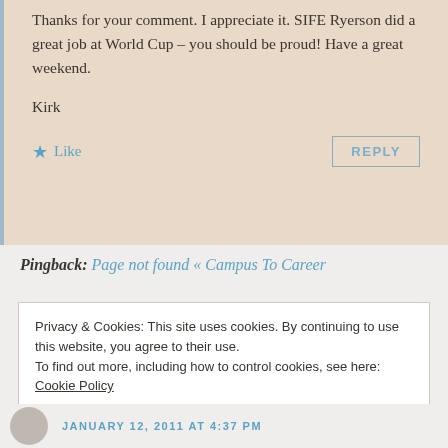Thanks for your comment. I appreciate it. SIFE Ryerson did a great job at World Cup – you should be proud! Have a great weekend.

Kirk
★ Like
REPLY
Pingback: Page not found « Campus To Career
Privacy & Cookies: This site uses cookies. By continuing to use this website, you agree to their use.
To find out more, including how to control cookies, see here: Cookie Policy
Close and accept
JANUARY 12, 2011 AT 4:37 PM